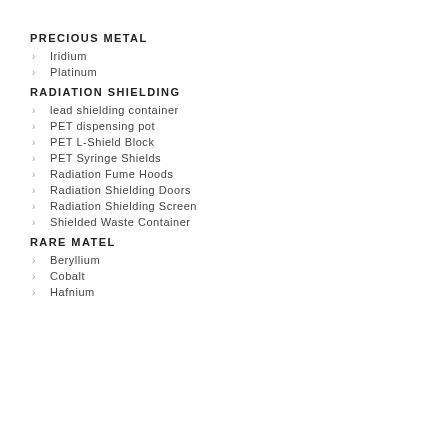PRECIOUS METAL
Iridium
Platinum
RADIATION SHIELDING
lead shielding container
PET dispensing pot
PET L-Shield Block
PET Syringe Shields
Radiation Fume Hoods
Radiation Shielding Doors
Radiation Shielding Screen
Shielded Waste Container
RARE MATEL
Beryllium
Cobalt
Hafnium